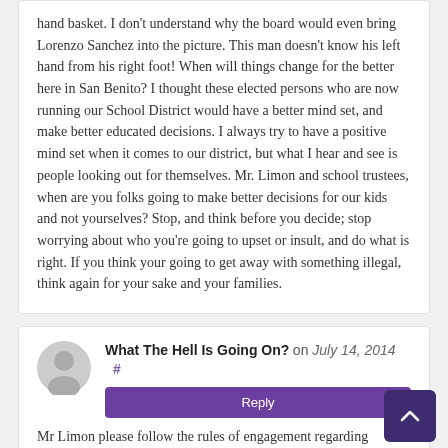hand basket. I don't understand why the board would even bring Lorenzo Sanchez into the picture. This man doesn't know his left hand from his right foot! When will things change for the better here in San Benito? I thought these elected persons who are now running our School District would have a better mind set, and make better educated decisions. I always try to have a positive mind set when it comes to our district, but what I hear and see is people looking out for themselves. Mr. Limon and school trustees, when are you folks going to make better decisions for our kids and not yourselves? Stop, and think before you decide; stop worrying about who you're going to upset or insult, and do what is right. If you think your going to get away with something illegal, think again for your sake and your families.
What The Hell Is Going On? on July 14, 2014 #
Reply
Mr Limon please follow the rules of engagement regarding Documentation. Verbal conversations don't count. Be prepared to handle the Blunders you have created in our